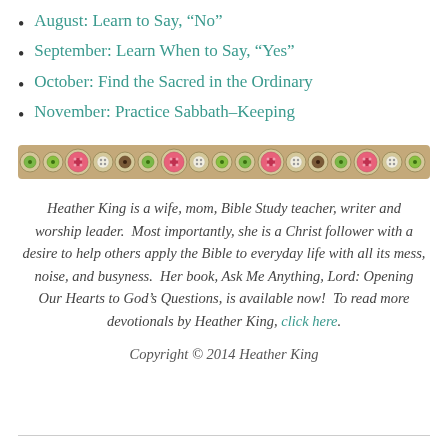August: Learn to Say, “No”
September: Learn When to Say, “Yes”
October: Find the Sacred in the Ordinary
November: Practice Sabbath-Keeping
[Figure (illustration): A decorative horizontal border made of colorful buttons (pink, green, white) on a tan/kraft background.]
Heather King is a wife, mom, Bible Study teacher, writer and worship leader. Most importantly, she is a Christ follower with a desire to help others apply the Bible to everyday life with all its mess, noise, and busyness. Her book, Ask Me Anything, Lord: Opening Our Hearts to God’s Questions, is available now! To read more devotionals by Heather King, click here.
Copyright © 2014 Heather King